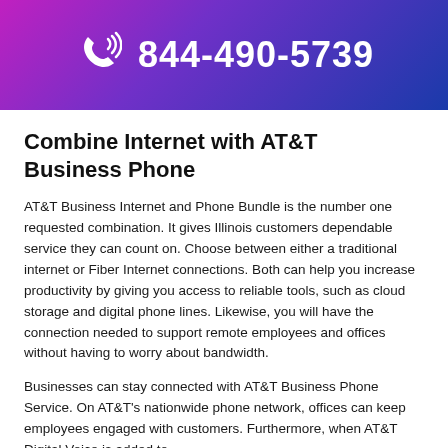[Figure (infographic): Purple to blue gradient banner header with a phone/signal icon and the phone number 844-490-5739 in white text]
Combine Internet with AT&T Business Phone
AT&T Business Internet and Phone Bundle is the number one requested combination. It gives Illinois customers dependable service they can count on. Choose between either a traditional internet or Fiber Internet connections. Both can help you increase productivity by giving you access to reliable tools, such as cloud storage and digital phone lines. Likewise, you will have the connection needed to support remote employees and offices without having to worry about bandwidth.
Businesses can stay connected with AT&T Business Phone Service. On AT&T's nationwide phone network, offices can keep employees engaged with customers. Furthermore, when AT&T Digital Voice is added to